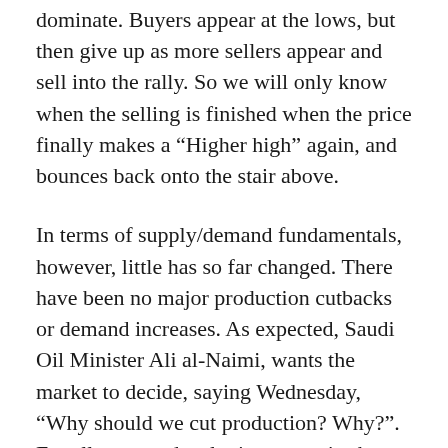dominate. Buyers appear at the lows, but then give up as more sellers appear and sell into the rally. So we will only know when the selling is finished when the price finally makes a "Higher high" again, and bounces back onto the stair above.
In terms of supply/demand fundamentals, however, little has so far changed. There have been no major production cutbacks or demand increases. As expected, Saudi Oil Minister Ali al-Naimi, wants the market to decide, saying Wednesday, "Why should we cut production? Why?". Equally, many developing countries have been busy removing subsidies that supported demand.